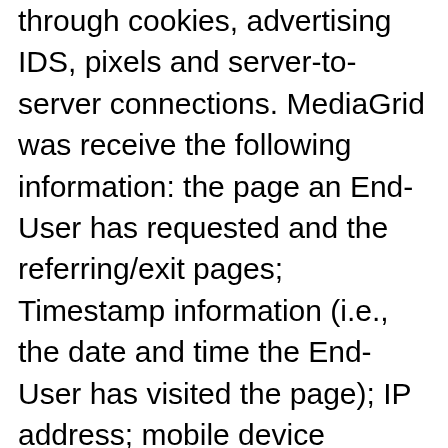through cookies, advertising IDS, pixels and server-to-server connections. MediaGrid was receive the following information: the page an End-User has requested and the referring/exit pages; Timestamp information (i.e., the date and time the End-User has visited the page); IP address; mobile device identifier; device model; device operating system; browser type; carrier; gender; age; geolocation (including GPS coordinates); clickstream data; cookie information; first-party identifiers'; and hashed email addresses; demographic and inferred